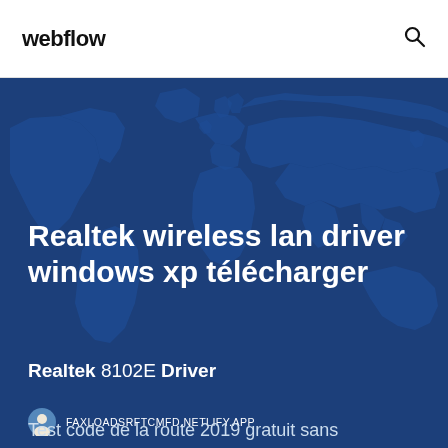webflow
[Figure (illustration): World map silhouette on dark blue background serving as hero image background]
Realtek wireless lan driver windows xp télécharger
Realtek 8102E Driver
FAXLOADSRFTCMFD.NETLIFY.APP
Test code de la route 2019 gratuit sans